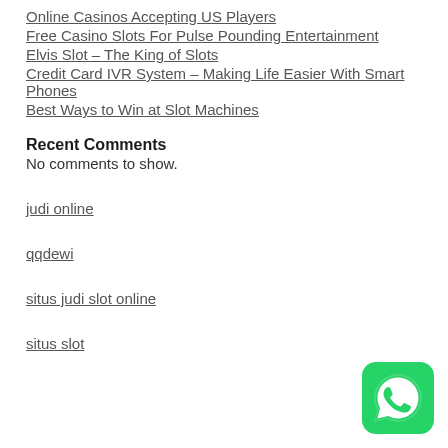Online Casinos Accepting US Players
Free Casino Slots For Pulse Pounding Entertainment
Elvis Slot – The King of Slots
Credit Card IVR System – Making Life Easier With Smart Phones
Best Ways to Win at Slot Machines
Recent Comments
No comments to show.
judi online
qqdewi
situs judi slot online
situs slot
[Figure (logo): WhatsApp green circular button icon]